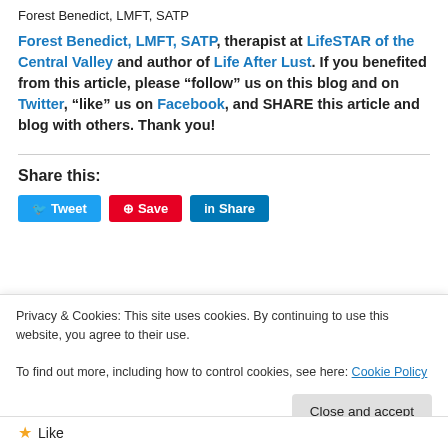Forest Benedict, LMFT, SATP
Forest Benedict, LMFT, SATP, therapist at LifeSTAR of the Central Valley and author of Life After Lust. If you benefited from this article, please “follow” us on this blog and on Twitter, “like” us on Facebook, and SHARE this article and blog with others. Thank you!
Share this:
Privacy & Cookies: This site uses cookies. By continuing to use this website, you agree to their use.
To find out more, including how to control cookies, see here: Cookie Policy
Close and accept
Like